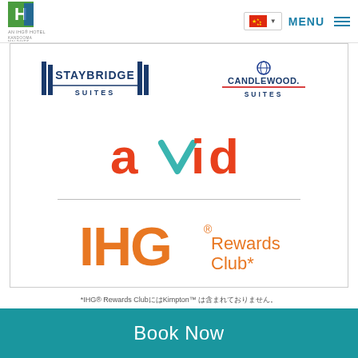Holiday Inn Resort Kandooma Maldives - AN IHG HOTEL
[Figure (logo): Staybridge Suites logo]
[Figure (logo): Candlewood Suites logo]
[Figure (logo): avid hotels logo in red/orange with teal checkmark]
[Figure (logo): IHG Rewards Club logo in orange]
*IHG® Rewards ClubにはKimpton™ は含まれておりません。
Book Now